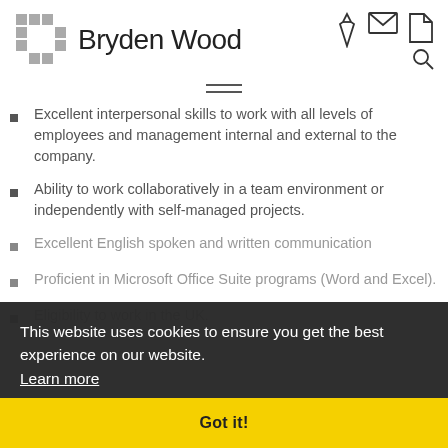Bryden Wood
Excellent interpersonal skills to work with all levels of employees and management internal and external to the company.
Ability to work collaboratively in a team environment or independently with self-managed projects.
Excellent English spoken and written communication
Proficient in Microsoft Office Suite programs (Word and Excel).
Eligibility to work in the UK.
This website uses cookies to ensure you get the best experience on our website. Learn more
Got it!